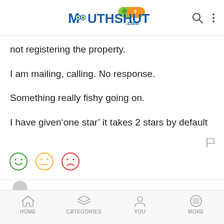MouthShut.com
not registering the property.
I am mailing, calling. No response.
Something really fishy going on.
I have given‘one star’ it takes 2 stars by default
HOME   CATEGORIES   YOU   MORE